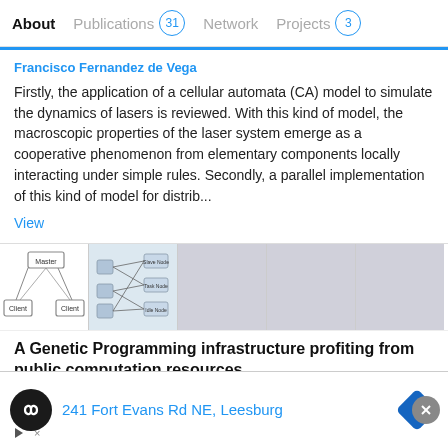About   Publications 31   Network   Projects 3
Francisco Fernandez de Vega
Firstly, the application of a cellular automata (CA) model to simulate the dynamics of lasers is reviewed. With this kind of model, the macroscopic properties of the laser system emerge as a cooperative phenomenon from elementary components locally interacting under simple rules. Secondly, a parallel implementation of this kind of model for distrib...
View
[Figure (screenshot): Thumbnail images showing a master-client architecture diagram and a network graph diagram, plus three grey placeholder thumbnails]
A Genetic Programming infrastructure profiting from public computation resources
Article   Full-text available
Advertisement   241 Fort Evans Rd NE, Leesburg